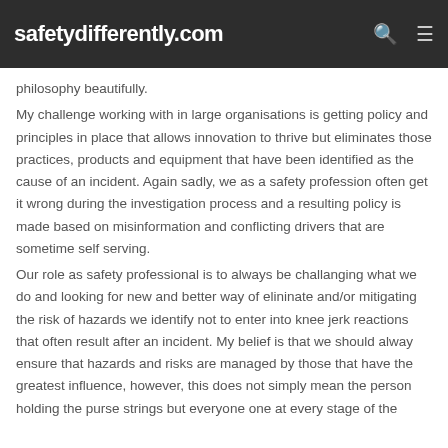safetydifferently.com
philosophy beautifully.
My challenge working with in large organisations is getting policy and principles in place that allows innovation to thrive but eliminates those practices, products and equipment that have been identified as the cause of an incident. Again sadly, we as a safety profession often get it wrong during the investigation process and a resulting policy is made based on misinformation and conflicting drivers that are sometime self serving.
Our role as safety professional is to always be challanging what we do and looking for new and better way of elininate and/or mitigating the risk of hazards we identify not to enter into knee jerk reactions that often result after an incident. My belief is that we should alway ensure that hazards and risks are managed by those that have the greatest influence, however, this does not simply mean the person holding the purse strings but everyone one at every stage of the